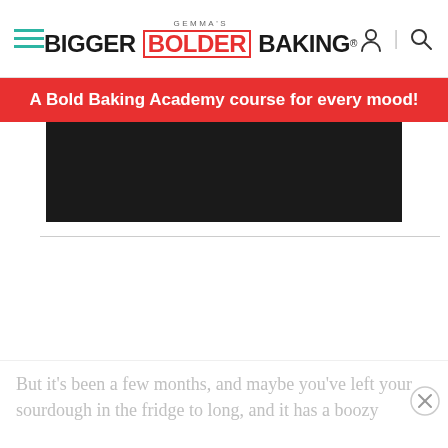Gemma's Bigger Bolder Baking
[Figure (screenshot): Red promotional banner reading: A Bold Baking Academy course for every mood!]
[Figure (photo): Dark/black image area below the banner, partially visible]
But it’s been a few months, and maybe you’ve left your sourdough in the fridge to long, and it has a boozy